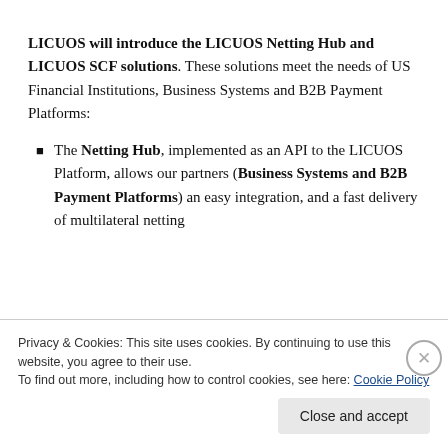LICUOS will introduce the LICUOS Netting Hub and LICUOS SCF solutions. These solutions meet the needs of US Financial Institutions, Business Systems and B2B Payment Platforms:
The Netting Hub, implemented as an API to the LICUOS Platform, allows our partners (Business Systems and B2B Payment Platforms) an easy integration, and a fast delivery of multilateral netting
Privacy & Cookies: This site uses cookies. By continuing to use this website, you agree to their use.
To find out more, including how to control cookies, see here: Cookie Policy